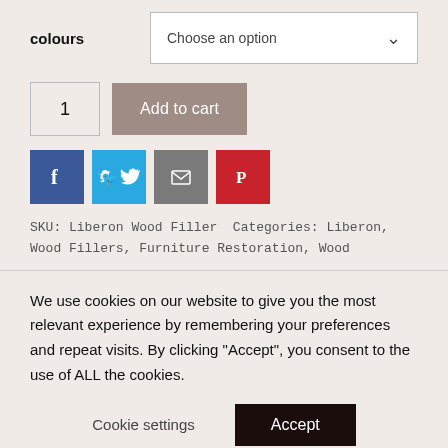colours  Choose an option
1  Add to cart
[Figure (other): Social share buttons: Facebook, Twitter, Email, Pinterest]
SKU: Liberon Wood Filler Categories: Liberon, Wood Fillers, Furniture Restoration, Wood
We use cookies on our website to give you the most relevant experience by remembering your preferences and repeat visits. By clicking "Accept", you consent to the use of ALL the cookies.
Cookie settings  Accept